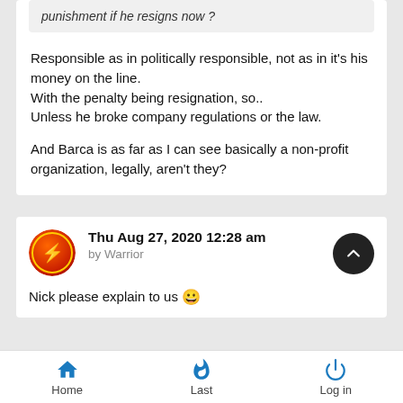punishment if he resigns now ?
Responsible as in politically responsible, not as in it's his money on the line.
With the penalty being resignation, so..
Unless he broke company regulations or the law.

And Barca is as far as I can see basically a non-profit organization, legally, aren't they?
Thu Aug 27, 2020 12:28 am
by Warrior
Nick please explain to us 😀
Home   Last   Log in